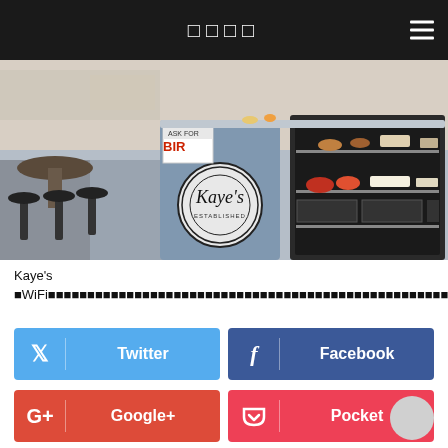□□□□
[Figure (photo): Interior photo of Kaye's cafe showing counter with Kaye's logo, display case with food items, bar stools, and cafe interior]
Kaye's ■WiFi■■■■■■■■■■■■■■■■■■■■■■■■■■■■■■■■■■■■■■■■■■■■■■■■■■■■■■■■■■■
[Figure (infographic): Twitter social share button (blue)]
[Figure (infographic): Facebook social share button (dark blue)]
[Figure (infographic): Google+ social share button (red-orange)]
[Figure (infographic): Pocket social share button (pink-red)]